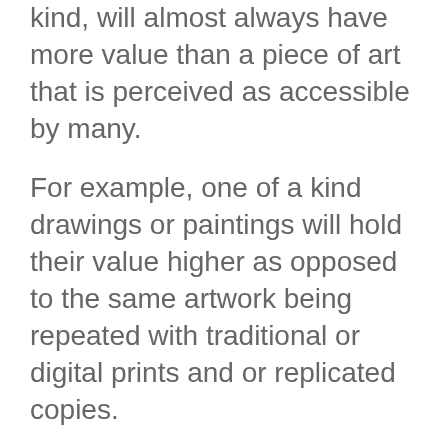kind, will almost always have more value than a piece of art that is perceived as accessible by many.
For example, one of a kind drawings or paintings will hold their value higher as opposed to the same artwork being repeated with traditional or digital prints and or replicated copies.
Some artists choose to stick with unique pieces with every new project whereas others work by producing a series of similar pieces. Often representing the subject being interpreted in multiple